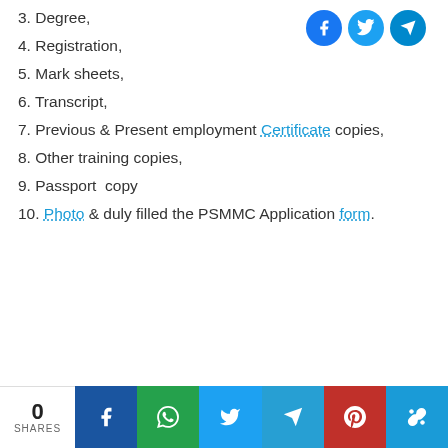3. Degree,
4. Registration,
5. Mark sheets,
6. Transcript,
7. Previous & Present employment Certificate copies,
8. Other training copies,
9. Passport  copy
10. Photo & duly filled the PSMMC Application form.
[Figure (logo): Social share icons: Facebook, Twitter, Telegram (top right)]
0 SHARES | Facebook | WhatsApp | Twitter | Telegram | Pinterest | Copy Link